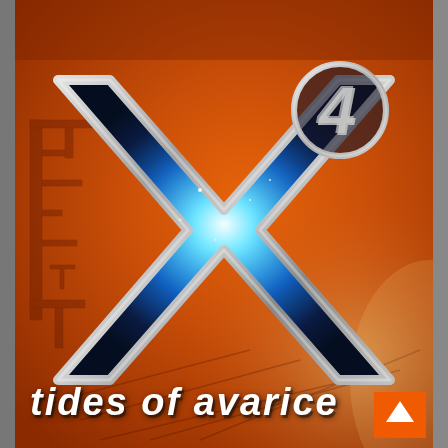[Figure (illustration): X4: Tides of Avarice game cover art. Orange/rust textured background with sci-fi architectural elements. Large stylized metallic 'X' letter with dark blue space nebula interior. Circle with number '4' superscript in upper right of the X. White italic text 'TIDES OF AVARICE' at the bottom. Orange button with upward chevron in bottom-right corner.]